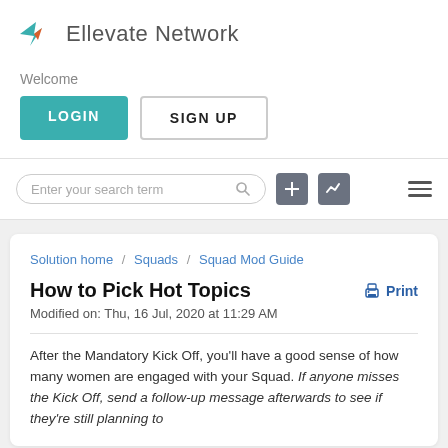[Figure (logo): Ellevate Network logo with stylized bird icon in teal and orange, followed by text 'Ellevate Network']
Welcome
LOGIN   SIGN UP
Enter your search term
Solution home / Squads / Squad Mod Guide
How to Pick Hot Topics
Modified on: Thu, 16 Jul, 2020 at 11:29 AM
After the Mandatory Kick Off, you'll have a good sense of how many women are engaged with your Squad. If anyone misses the Kick Off, send a follow-up message afterwards to see if they're still planning to